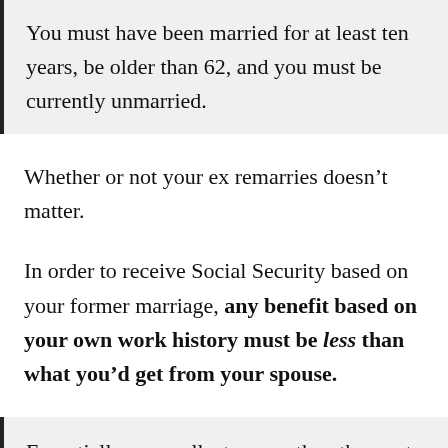You must have been married for at least ten years, be older than 62, and you must be currently unmarried.
Whether or not your ex remarries doesn't matter.
In order to receive Social Security based on your former marriage, any benefit based on your own work history must be less than what you'd get from your spouse.
Essentially, you collect one or the other, not both, and receive the larger payout.